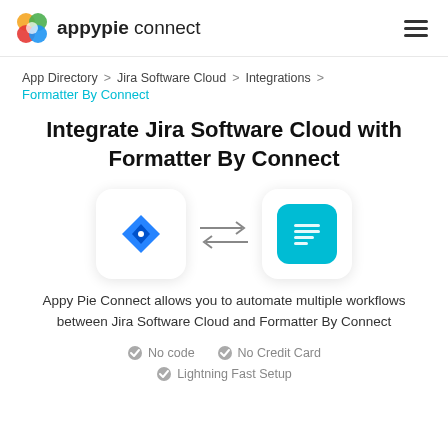appypie connect
App Directory > Jira Software Cloud > Integrations > Formatter By Connect
Integrate Jira Software Cloud with Formatter By Connect
[Figure (illustration): Jira Software Cloud icon (blue diamond) and Formatter By Connect icon (teal document icon) connected by bidirectional arrows]
Appy Pie Connect allows you to automate multiple workflows between Jira Software Cloud and Formatter By Connect
No code
No Credit Card
Lightning Fast Setup